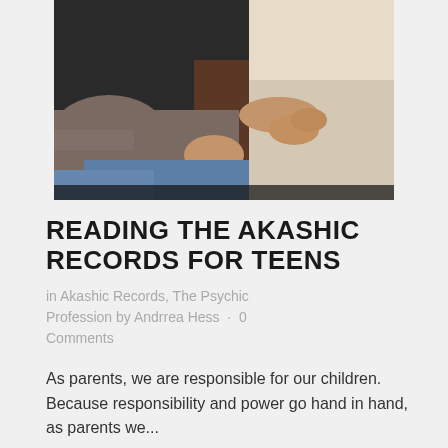[Figure (photo): Two people sitting close together; one wearing a gray/brown t-shirt and the other a cream/beige top. The image is cropped at mid-torso level showing hands and seated postures.]
READING THE AKASHIC RECORDS FOR TEENS
in Akashic Records, The Psychic Profession by Andrrea Hess · 0 Comments
As parents, we are responsible for our children.  Because responsibility and power go hand in hand, as parents we...